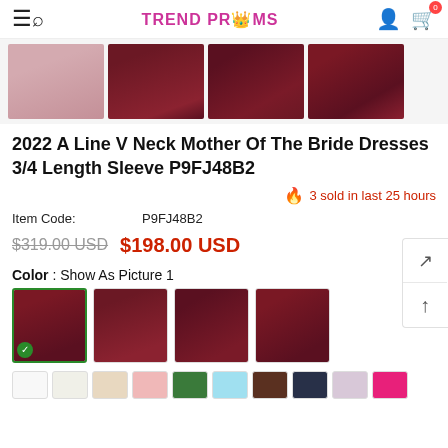TREND PROMS
[Figure (photo): Four thumbnail images of burgundy/dark red and pink mother-of-the-bride dresses]
2022 A Line V Neck Mother Of The Bride Dresses 3/4 Length Sleeve P9FJ48B2
3 sold in last 25 hours
Item Code:  P9FJ48B2
$319.00 USD  $198.00 USD
Color : Show As Picture 1
[Figure (photo): Four color variant thumbnail photos of the dress in burgundy/dark red]
[Figure (photo): Row of fabric color swatches: white, ivory, champagne, pink, green, light blue, brown, navy, lavender, hot pink]